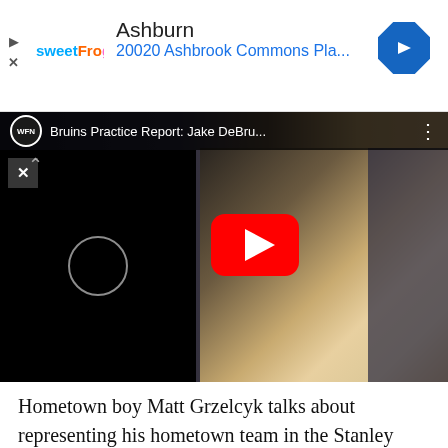[Figure (screenshot): Ad banner: sweetFrog logo, text 'Ashburn' and '20020 Ashbrook Commons Pla...' in blue, navigation arrow icon on right, play and close icons on left]
[Figure (screenshot): YouTube video embed: Channel logo WFN, title 'Bruins Practice Report: Jake DeBru...', three dots menu, chevron up, left black panel with circle and X close button, YouTube red play button overlay, background shows a young man in white shirt and baseball cap]
Hometown boy Matt Grzelcyk talks about representing his hometown team in the Stanley Cup Final and his last Championship game at TD Garden, the 2015 NCAA National Championship with Boston